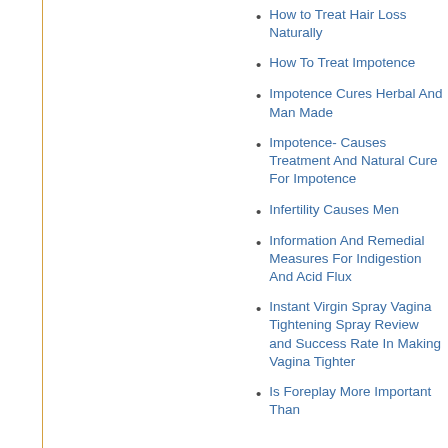How to Treat Hair Loss Naturally
How To Treat Impotence
Impotence Cures Herbal And Man Made
Impotence- Causes Treatment And Natural Cure For Impotence
Infertility Causes Men
Information And Remedial Measures For Indigestion And Acid Flux
Instant Virgin Spray Vagina Tightening Spray Review and Success Rate In Making Vagina Tighter
Is Foreplay More Important Than